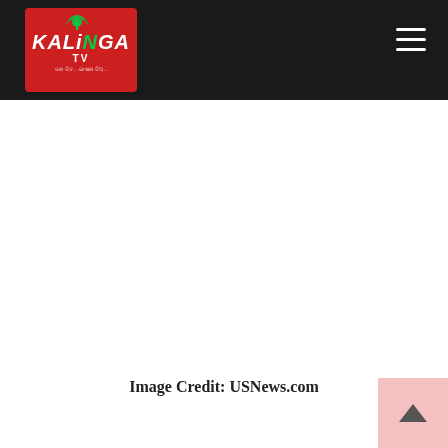[Figure (logo): Kalinga TV logo — red rounded rectangle with white bold italic text 'KALINGA' and 'TV', green letter styling, Odia subtitle text below]
[Figure (other): Hamburger menu icon — three white horizontal lines on dark background, top right of navigation bar]
Image Credit: USNews.com
[Figure (other): Scroll-to-top button — pink/light-red square with upward arrow, bottom right corner]